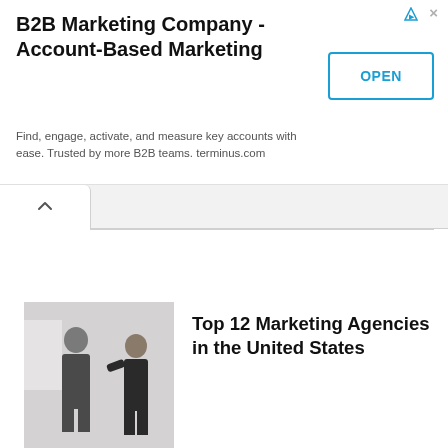[Figure (screenshot): Advertisement banner for B2B Marketing Company - Account-Based Marketing by terminus.com, with an OPEN button]
B2B Marketing Company - Account-Based Marketing
Find, engage, activate, and measure key accounts with ease. Trusted by more B2B teams. terminus.com
[Figure (photo): Thumbnail photo showing two people, one presenting at a whiteboard]
Top 12 Marketing Agencies in the United States
RELATED POSTS